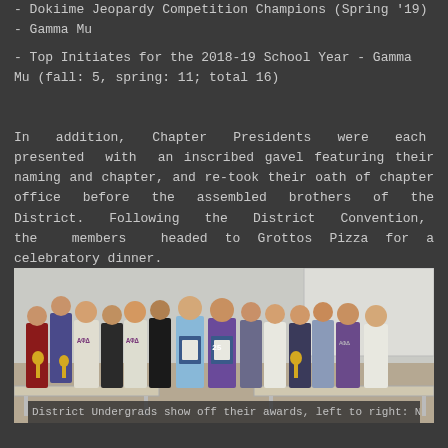- Dokiime Jeopardy Competition Champions (Spring '19) - Gamma Mu
- Top Initiates for the 2018-19 School Year - Gamma Mu (fall: 5, spring: 11; total 16)
In addition, Chapter Presidents were each presented with an inscribed gavel featuring their naming and chapter, and re-took their oath of chapter office before the assembled brothers of the District. Following the District Convention, the members headed to Grottos Pizza for a celebratory dinner.
[Figure (photo): Group photo of fraternity members (Alpha Phi Delta) showing off awards — trophies and certificates — after District Convention, standing in a classroom.]
District Undergrads show off their awards, left to right: Nicholas...